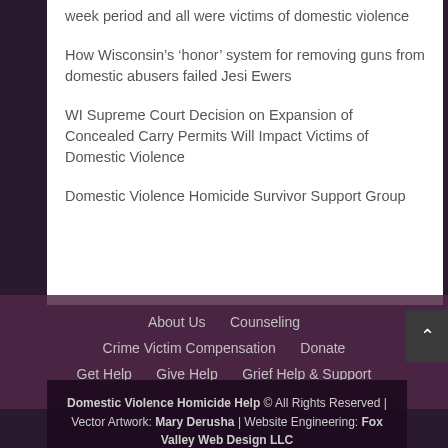week period and all were victims of domestic violence
How Wisconsin's ‘honor’ system for removing guns from domestic abusers failed Jesi Ewers
WI Supreme Court Decision on Expansion of Concealed Carry Permits Will Impact Victims of Domestic Violence
Domestic Violence Homicide Survivor Support Group
About Us   Counseling   Crime Victim Compensation   Donate   Get Help   Give Help   Grief Help & Support
Domestic Violence Homicide Help © All Rights Reserved | Vector Artwork: Mary Derusha | Website Engineering: Fox Valley Web Design LLC